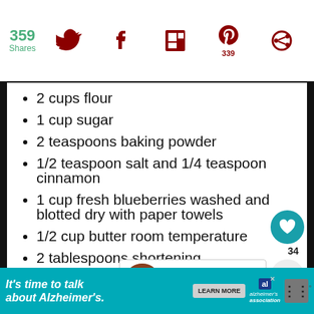359 Shares | Twitter | Facebook | Flipboard | Pinterest 339 | Circle
2 cups flour
1 cup sugar
2 teaspoons baking powder
1/2 teaspoon salt and 1/4 teaspoon cinnamon
1 cup fresh blueberries washed and blotted dry with paper towels
1/2 cup butter room temperature
2 tablespoons shortening
1 egg beaten
[Figure (screenshot): What's Next promo box with pecan pie bar image: 'WHAT'S NEXT → Easy Pecan Pie Bars']
[Figure (screenshot): Ad banner: It's time to talk about Alzheimer's. Learn More. Alzheimer's Association logo.]